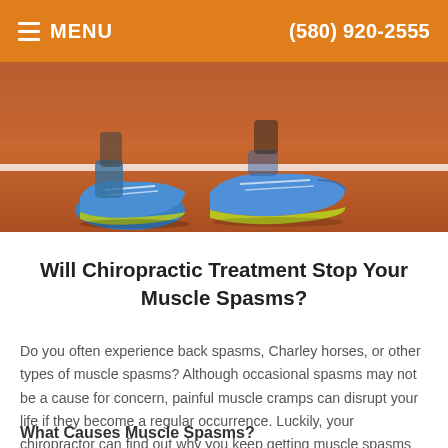MENU   (580) 920-2555
[Figure (photo): Photo of a runner's feet and blue running shoes on a red athletic track, with a white lane line visible.]
Will Chiropractic Treatment Stop Your Muscle Spasms?
Do you often experience back spasms, Charley horses, or other types of muscle spasms? Although occasional spasms may not be a cause for concern, painful muscle cramps can disrupt your life if they become a regular occurrence. Luckily, your chiropractor can find out why you keep getting muscle spasms and offer treatments that will relieve your pain.
What Causes Muscle Spasms?